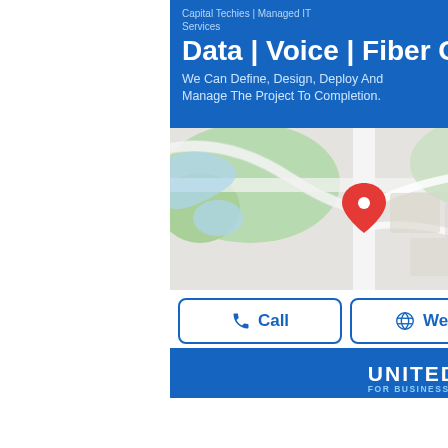[Figure (infographic): Advertisement banner for Capital Techies Managed IT Services showing blue background with text 'Capital Techies | Managed IT Services', 'Data | Voice | Fiber Optic', 'We Can Define, Design, Deploy And Manage The Project To Completion.' with a map showing a location pin and two buttons: Call and Website. Below is a United Airlines For Business advertisement banner.]